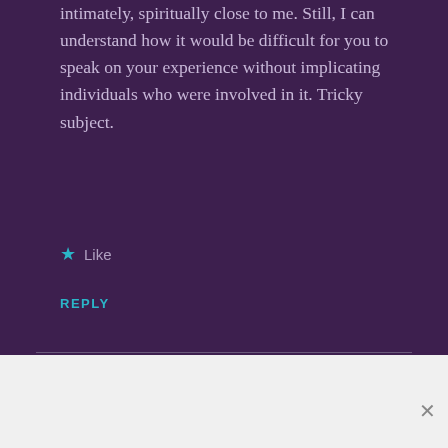intimately, spiritually close to me. Still, I can understand how it would be difficult for you to speak on your experience without implicating individuals who were involved in it. Tricky subject.
★ Like
REPLY
jenbrice
Advertisements
[Figure (screenshot): Advertisement banner: ThePlatform Where WordPress Works Best — Pressable]